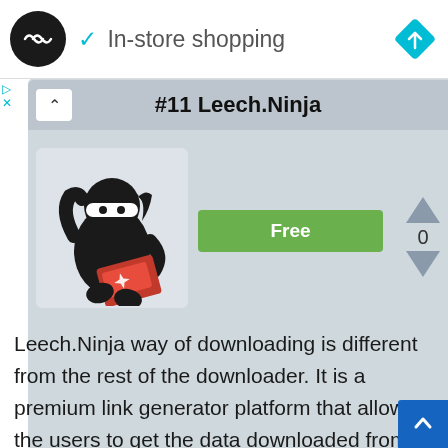✓ In-store shopping
#11 Leech.Ninja
[Figure (illustration): Ninja mascot character wearing black outfit holding a red laptop with a shuriken on it]
Free
0
Leech.Ninja way of downloading is different from the rest of the downloader. It is a premium link generator platform that allows the users to get the data downloaded from the leading file hosting platforms. It aims to offer its users the quality service of free